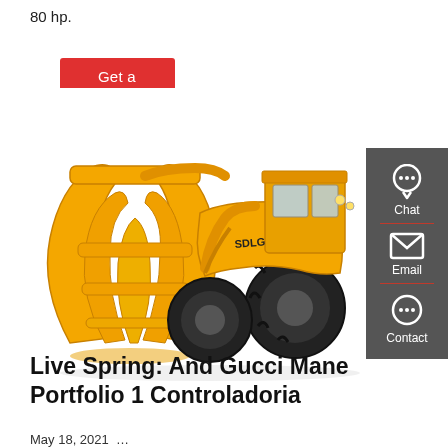80 hp.
Get a quote
[Figure (photo): Yellow wheel loader / front-end loader with large claw/grapple attachment (SDLG brand), photographed on white background. A grey sidebar on the right shows Chat, Email, and Contact icons.]
Live Spring: And Gucci Mane Portfolio 1 Controladoria
May 18, 2021...